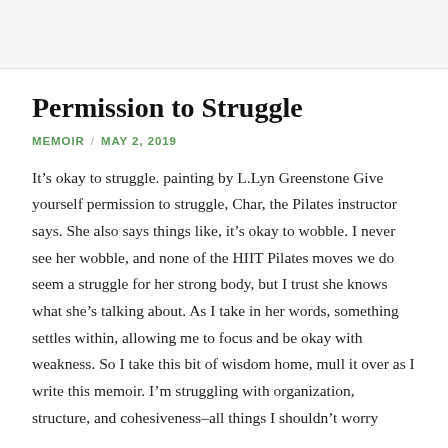Permission to Struggle
MEMOIR / MAY 2, 2019
It’s okay to struggle. painting by L.Lyn Greenstone Give yourself permission to struggle, Char, the Pilates instructor says. She also says things like, it’s okay to wobble. I never see her wobble, and none of the HIIT Pilates moves we do seem a struggle for her strong body, but I trust she knows what she’s talking about. As I take in her words, something settles within, allowing me to focus and be okay with weakness. So I take this bit of wisdom home, mull it over as I write this memoir. I’m struggling with organization, structure, and cohesiveness–all things I shouldn’t worry